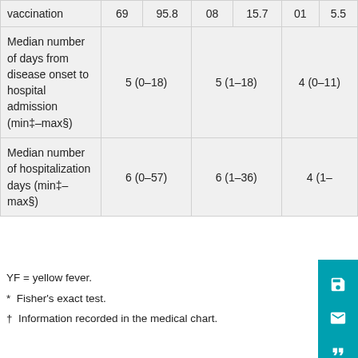|  | Col1 | Col2 | Col3 | Col4 | Col5 | Col6 |
| --- | --- | --- | --- | --- | --- | --- |
| vaccination | 69 | 95.8 | 08 | 15.7 | 01 | 5.5 |
| Median number of days from disease onset to hospital admission (min‡–max§) | 5 (0–18) |  | 5 (1–18) |  | 4 (0–11) |  |
| Median number of hospitalization days (min‡–max§) | 6 (0–57) |  | 6 (1–36) |  | 4 (1– |  |
YF = yellow fever.
* Fisher's exact test.
† Information recorded in the medical chart.